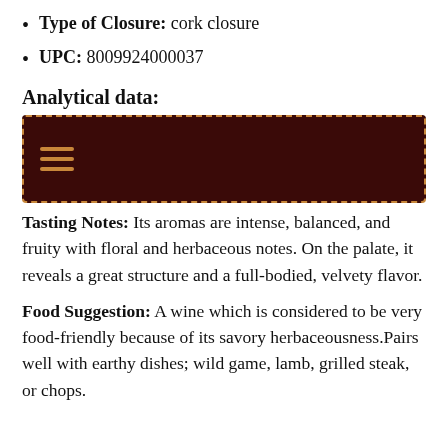Type of Closure: cork closure
UPC: 8009924000037
Analytical data:
[Figure (other): Dark maroon box with dashed orange border containing a hamburger menu icon with three horizontal orange lines]
Tasting Notes: Its aromas are intense, balanced, and fruity with floral and herbaceous notes. On the palate, it reveals a great structure and a full-bodied, velvety flavor.
Food Suggestion: A wine which is considered to be very food-friendly because of its savory herbaceousness.Pairs well with earthy dishes; wild game, lamb, grilled steak, or chops.